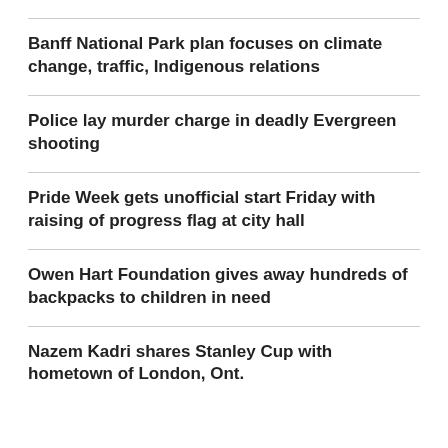Banff National Park plan focuses on climate change, traffic, Indigenous relations
Police lay murder charge in deadly Evergreen shooting
Pride Week gets unofficial start Friday with raising of progress flag at city hall
Owen Hart Foundation gives away hundreds of backpacks to children in need
Nazem Kadri shares Stanley Cup with hometown of London, Ont.